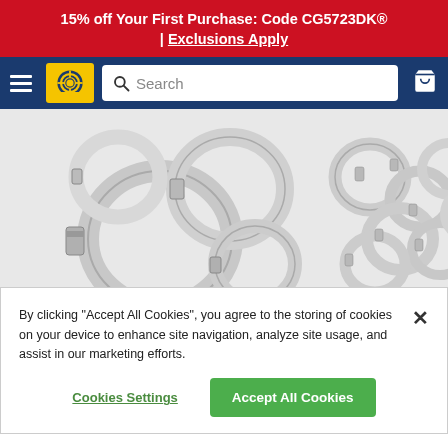15% off Your First Purchase: Code CG5723DK® | Exclusions Apply
[Figure (screenshot): Navigation bar with hamburger menu, Discount Tire logo (yellow background), search bar, and cart icon on dark blue background]
[Figure (photo): Product photo showing multiple stainless steel hose clamps of various sizes arranged on a white background — two groups visible]
By clicking "Accept All Cookies", you agree to the storing of cookies on your device to enhance site navigation, analyze site usage, and assist in our marketing efforts.
Cookies Settings
Accept All Cookies